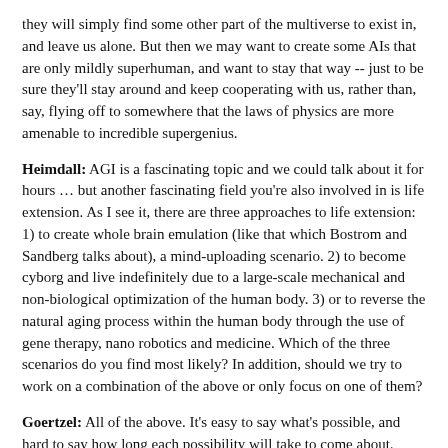they will simply find some other part of the multiverse to exist in, and leave us alone. But then we may want to create some AIs that are only mildly superhuman, and want to stay that way -- just to be sure they'll stay around and keep cooperating with us, rather than, say, flying off to somewhere that the laws of physics are more amenable to incredible supergenius.
Heimdall: AGI is a fascinating topic and we could talk about it for hours … but another fascinating field you're also involved in is life extension. As I see it, there are three approaches to life extension: 1) to create whole brain emulation (like that which Bostrom and Sandberg talks about), a mind-uploading scenario. 2) to become cyborg and live indefinitely due to a large-scale mechanical and non-biological optimization of the human body. 3) or to reverse the natural aging process within the human body through the use of gene therapy, nano robotics and medicine. Which of the three scenarios do you find most likely? In addition, should we try to work on a combination of the above or only focus on one of them?
Goertzel: All of the above. It's easy to say what's possible, and hard to say how long each possibility will take to come about. Right now we don't have the basis to predict which of the above will come about faster, so we should pursue them all, at least will we understand more. Maybe in 5 or 10 years we'll know enough to prioritize one of them more firmly.
I'm currently working on the genomics approach (part of your option 3) with Biomind and Genescient, but am also involved in some work on brain